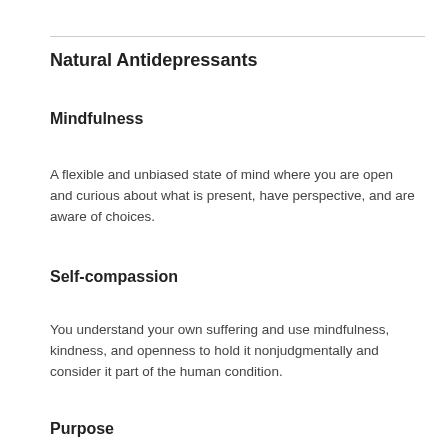Natural Antidepressants
Mindfulness
A flexible and unbiased state of mind where you are open and curious about what is present, have perspective, and are aware of choices.
Self-compassion
You understand your own suffering and use mindfulness, kindness, and openness to hold it nonjudgmentally and consider it part of the human condition.
Purpose